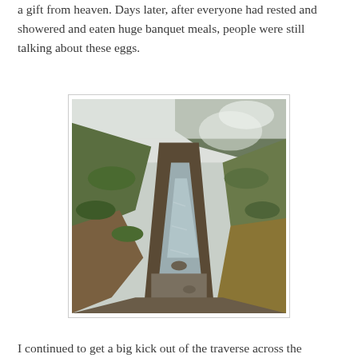a gift from heaven. Days later, after everyone had rested and showered and eaten huge banquet meals, people were still talking about these eggs.
[Figure (photo): A geothermal stream or hot spring channel cutting through moss-covered and earthy hillsides, with steam rising in the misty background. The narrow rocky stream winds through the center of the image between grassy and brown slopes.]
I continued to get a big kick out of the traverse across the